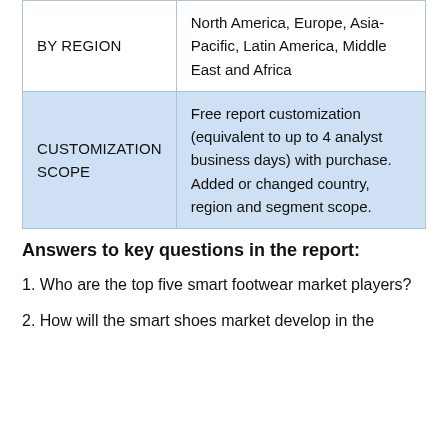|  |  |
| --- | --- |
| BY REGION | North America, Europe, Asia-Pacific, Latin America, Middle East and Africa |
| CUSTOMIZATION SCOPE | Free report customization (equivalent to up to 4 analyst business days) with purchase. Added or changed country, region and segment scope. |
Answers to key questions in the report:
1. Who are the top five smart footwear market players?
2. How will the smart shoes market develop in the